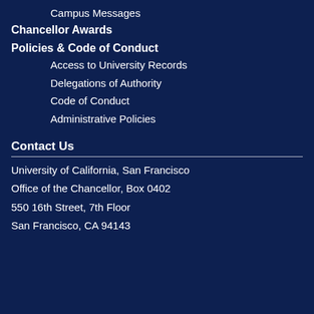Campus Messages
Chancellor Awards
Policies & Code of Conduct
Access to University Records
Delegations of Authority
Code of Conduct
Administrative Policies
Contact Us
University of California, San Francisco
Office of the Chancellor, Box 0402
550 16th Street, 7th Floor
San Francisco, CA 94143